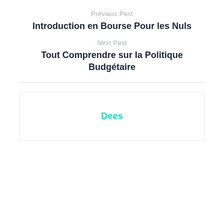Previous Post
Introduction en Bourse Pour les Nuls
Next Post
Tout Comprendre sur la Politique Budgétaire
[Figure (other): Author box with teal name 'Dees']